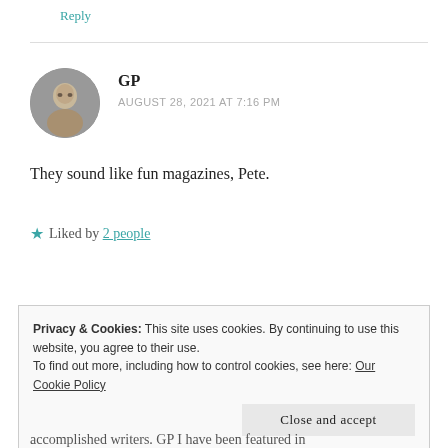Reply
GP
AUGUST 28, 2021 AT 7:16 PM
They sound like fun magazines, Pete.
★ Liked by 2 people
Reply
Privacy & Cookies: This site uses cookies. By continuing to use this website, you agree to their use.
To find out more, including how to control cookies, see here: Our Cookie Policy
Close and accept
accomplished writers. GP I have been featured in